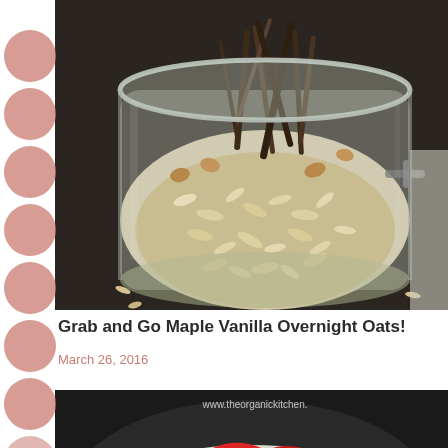[Figure (photo): Close-up of a glass jar filled with oats, nuts and dried ingredients for overnight oats, photographed from above on a dark surface]
Grab and Go Maple Vanilla Overnight Oats!
March 26, 2016
[Figure (photo): A plate with toast topped with cream, sliced strawberries and fresh mint leaves on a dark plate, with watermark www.theorganickitchen]